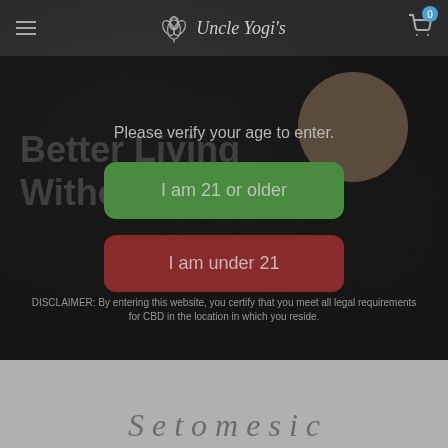Uncle Yogi's — navigation header with hamburger menu and cart
[Figure (screenshot): Age verification modal on Uncle Yogi's website with dark textured background, tan circle decoration, background text 'Better Living Without Chemicals', modal prompt 'Please verify your age to enter.', green button 'I am 21 or older', red button 'I am under 21', and disclaimer text.]
Please verify your age to enter.
I am 21 or older
I am under 21
DISCLAIMER: By entering this website, you certify that you meet all legal requirements for CBD in the location in which you reside.